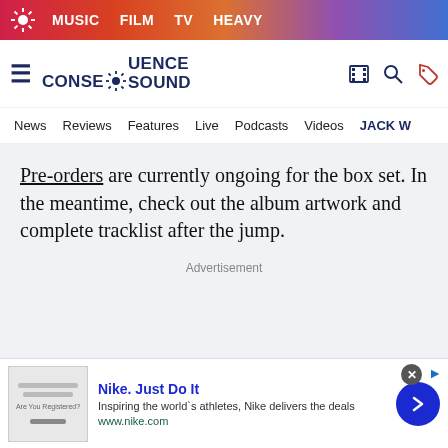MUSIC  FILM  TV  HEAVY
Consequence Sound
News  Reviews  Features  Live  Podcasts  Videos  JACK W
Pre-orders are currently ongoing for the box set. In the meantime, check out the album artwork and complete tracklist after the jump.
Advertisement
[Figure (screenshot): Nike advertisement banner: Nike. Just Do It. Inspiring the world's athletes, Nike delivers the deals. www.nike.com]